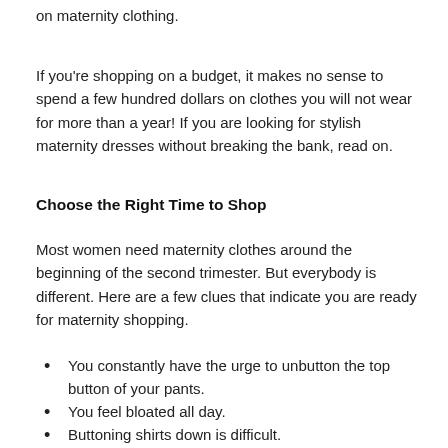on maternity clothing.
If you're shopping on a budget, it makes no sense to spend a few hundred dollars on clothes you will not wear for more than a year! If you are looking for stylish maternity dresses without breaking the bank, read on.
Choose the Right Time to Shop
Most women need maternity clothes around the beginning of the second trimester. But everybody is different. Here are a few clues that indicate you are ready for maternity shopping.
You constantly have the urge to unbutton the top button of your pants.
You feel bloated all day.
Buttoning shirts down is difficult.